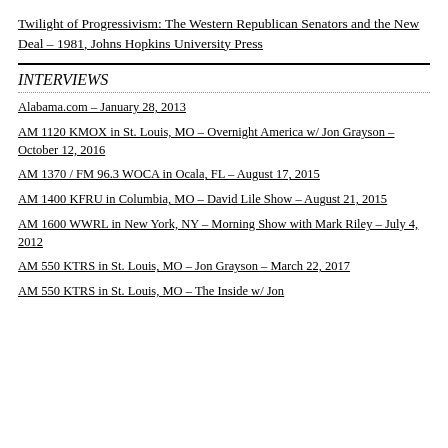Twilight of Progressivism: The Western Republican Senators and the New Deal – 1981, Johns Hopkins University Press
INTERVIEWS
Alabama.com – January 28, 2013
AM 1120 KMOX in St. Louis, MO – Overnight America w/ Jon Grayson – October 12, 2016
AM 1370 / FM 96.3 WOCA in Ocala, FL – August 17, 2015
AM 1400 KFRU in Columbia, MO – David Lile Show – August 21, 2015
AM 1600 WWRL in New York, NY – Morning Show with Mark Riley – July 4, 2012
AM 550 KTRS in St. Louis, MO – Jon Grayson – March 22, 2017
AM 550 KTRS in St. Louis, MO – The Inside w/ Jon